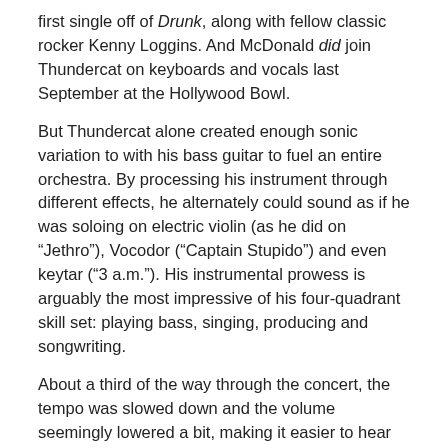first single off of Drunk, along with fellow classic rocker Kenny Loggins. And McDonald did join Thundercat on keyboards and vocals last September at the Hollywood Bowl.
But Thundercat alone created enough sonic variation to with his bass guitar to fuel an entire orchestra. By processing his instrument through different effects, he alternately could sound as if he was soloing on electric violin (as he did on "Jethro"), Vocodor ("Captain Stupido") and even keytar ("3 a.m."). His instrumental prowess is arguably the most impressive of his four-quadrant skill set: playing bass, singing, producing and songwriting.
About a third of the way through the concert, the tempo was slowed down and the volume seemingly lowered a bit, making it easier to hear Thundercat's singing and better appreciate each member's contribution. "Friend Zone" and "I Am Crazy," both from Drunk, goaded whole swaths of the audience to sway, while "3 a.m." (also found on Drunk) utilized a heavy, nosebleed-level bass tone and a groove that Bruner may have picked up while working and playing with funk godfather George Clinton.